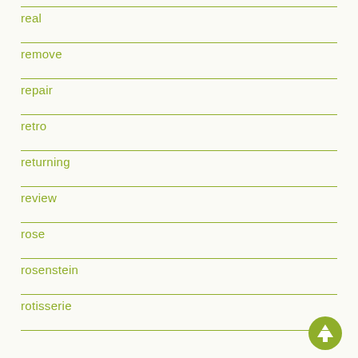real
remove
repair
retro
returning
review
rose
rosenstein
rotisserie